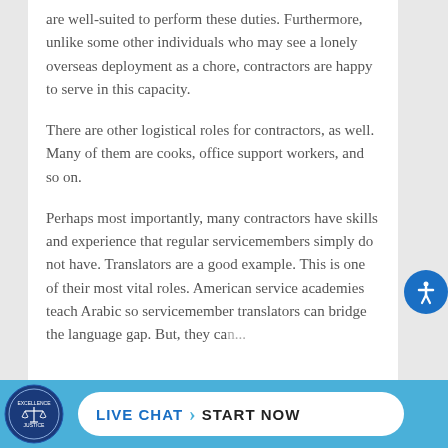are well-suited to perform these duties. Furthermore, unlike some other individuals who may see a lonely overseas deployment as a chore, contractors are happy to serve in this capacity.
There are other logistical roles for contractors, as well. Many of them are cooks, office support workers, and so on.
Perhaps most importantly, many contractors have skills and experience that regular servicemembers simply do not have. Translators are a good example. This is one of their most vital roles. American service academies teach Arabic so servicemember translators can bridge the language gap. But, they can...
[Figure (logo): Blue circular seal/logo of a legal firm]
LIVE CHAT   START NOW